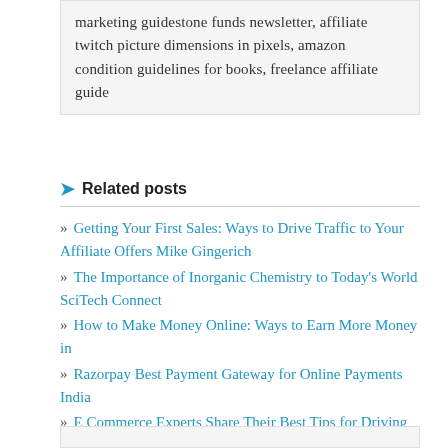marketing guidestone funds newsletter, affiliate twitch picture dimensions in pixels, amazon condition guidelines for books, freelance affiliate guide
Related posts
» Getting Your First Sales: Ways to Drive Traffic to Your Affiliate Offers Mike Gingerich
» The Importance of Inorganic Chemistry to Today's World SciTech Connect
» How to Make Money Online: Ways to Earn More Money in
» Razorpay Best Payment Gateway for Online Payments India
» E Commerce Experts Share Their Best Tips for Driving Repeat Sales Online